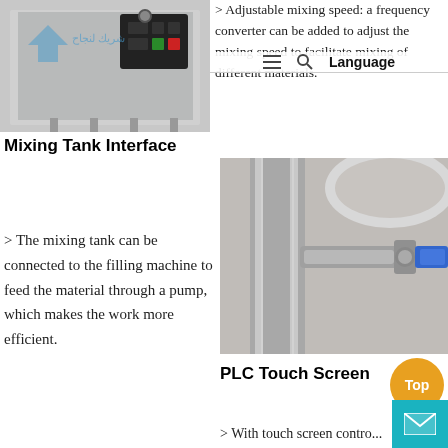[Figure (photo): Industrial mixing equipment with control panel showing green and red buttons, mounted on stainless steel frame with legs]
≡  🔍  Language
> Adjustable mixing speed: a frequency converter can be added to adjust the mixing speed to facilitate mixing of different materials.
Mixing Tank Interface
[Figure (photo): Close-up of stainless steel mixing tank interface showing pipe connections, valve, and blue flexible hose connector]
> The mixing tank can be connected to the filling machine to feed the material through a pump, which makes the work more efficient.
PLC Touch Screen
> With touch screen contro...